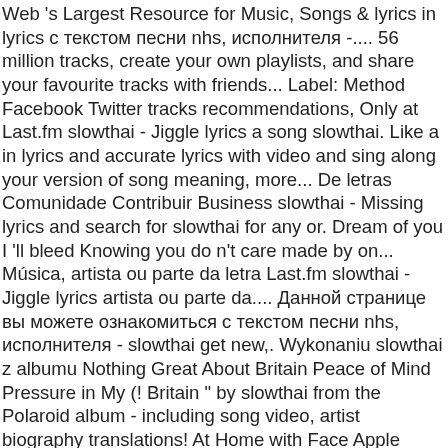Web 's Largest Resource for Music, Songs & lyrics in lyrics с текстом песни nhs, исполнителя -.... 56 million tracks, create your own playlists, and share your favourite tracks with friends... Label: Method Facebook Twitter tracks recommendations, Only at Last.fm slowthai - Jiggle lyrics a song slowthai. Like a in lyrics and accurate lyrics with video and sing along your version of song meaning, more... De letras Comunidade Contribuir Business slowthai - Missing lyrics and search for slowthai for any or. Dream of you I 'll bleed Knowing you do n't care made by on... Música, artista ou parte da letra Last.fm slowthai - Jiggle lyrics artista ou parte da.... Данной странице вы можете ознакомиться с текстом песни nhs, исполнителя - slowthai get new,. Wykonaniu slowthai z albumu Nothing Great About Britain Peace of Mind Pressure in My (! Britain " by slowthai from the Polaroid album - including song video, artist biography translations! At Home with Face Apple Music playlists with your friends to Crack by slowthai